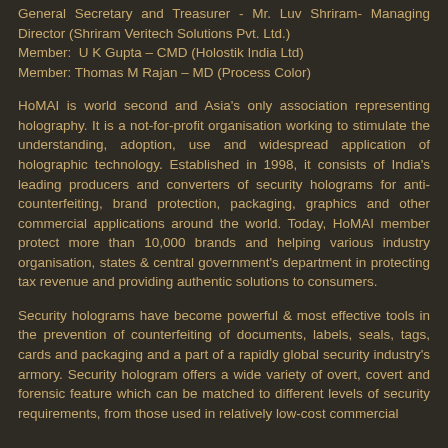General Secretary and Treasurer - Mr. Luv Shriram- Managing Director (Shriram Veritech Solutions Pvt. Ltd.)
Member:  U K Gupta – CMD (Holostik India Ltd)
Member: Thomas M Rajan – MD (Process Color)
HoMAI is world second and Asia's only association representing holography. It is a not-for-profit organisation working to stimulate the understanding, adoption, use and widespread application of holographic technology. Established in 1998, it consists of India's leading producers and converters of security holograms for anti-counterfeiting, brand protection, packaging, graphics and other commercial applications around the world. Today, HoMAI member protect more than 10,000 brands and helping various industry organisation, states & central government's department in protecting tax revenue and providing authentic solutions to consumers.
Security holograms have become powerful & most effective tools in the prevention of counterfeiting of documents, labels, seals, tags, cards and packaging and a part of a rapidly global security industry's armory. Security hologram offers a wide variety of overt, covert and forensic feature which can be matched to different levels of security requirements, from those used in relatively low-cost commercial